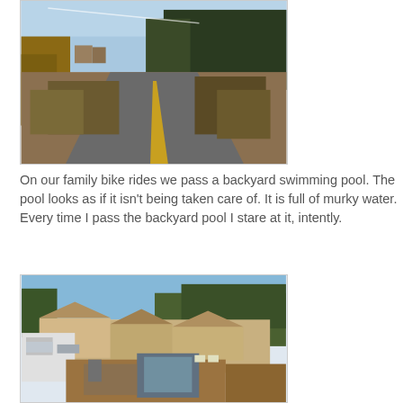[Figure (photo): A paved bike path stretching into the distance, flanked by dry shrubs and vegetation on both sides, with tall dark trees on the right and wooden fences on the left, under a blue sky.]
On our family bike rides we pass a backyard swimming pool. The pool looks as if it isn't being taken care of. It is full of murky water. Every time I pass the backyard pool I stare at it, intently.
[Figure (photo): An aerial view of a suburban neighborhood with houses, fences, and a backyard with a murky swimming pool surrounded by construction materials and clutter, with trees and hills in the background under a blue sky.]